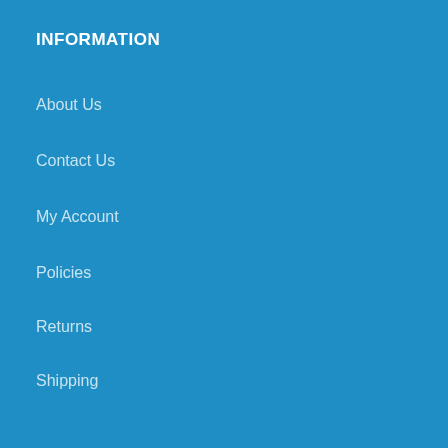INFORMATION
About Us
Contact Us
My Account
Policies
Returns
Shipping
HELPFUL LINKS
Blog
CDC
Efficacy Data
EPA